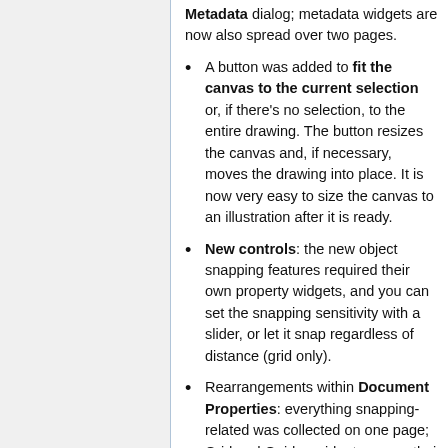Metadata dialog; metadata widgets are now also spread over two pages.
A button was added to fit the canvas to the current selection or, if there's no selection, to the entire drawing. The button resizes the canvas and, if necessary, moves the drawing into place. It is now very easy to size the canvas to an illustration after it is ready.
New controls: the new object snapping features required their own property widgets, and you can set the snapping sensitivity with a slider, or let it snap regardless of distance (grid only).
Rearrangements within Document Properties: everything snapping-related was collected on one page; Grid and Guides widgets are on their...